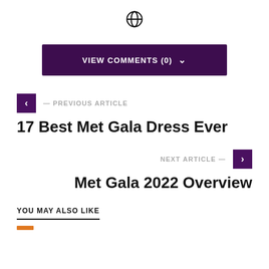[Figure (other): Globe/world icon symbol centered at top]
VIEW COMMENTS (0)  ˅
‹  — PREVIOUS ARTICLE
17 Best Met Gala Dress Ever
NEXT ARTICLE —  ›
Met Gala 2022 Overview
YOU MAY ALSO LIKE